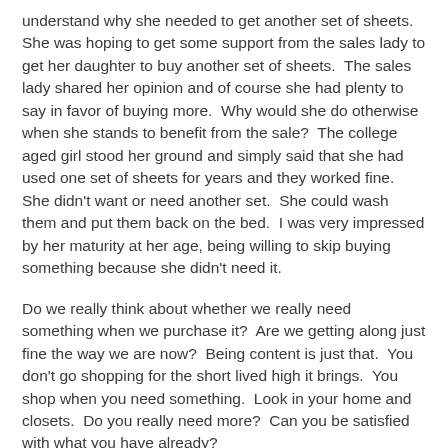understand why she needed to get another set of sheets.  She was hoping to get some support from the sales lady to get her daughter to buy another set of sheets.  The sales lady shared her opinion and of course she had plenty to say in favor of buying more.  Why would she do otherwise when she stands to benefit from the sale?  The college aged girl stood her ground and simply said that she had used one set of sheets for years and they worked fine.  She didn't want or need another set.  She could wash them and put them back on the bed.  I was very impressed by her maturity at her age, being willing to skip buying something because she didn't need it.
Do we really think about whether we really need something when we purchase it?  Are we getting along just fine the way we are now?  Being content is just that.  You don't go shopping for the short lived high it brings.  You shop when you need something.  Look in your home and closets.  Do you really need more?  Can you be satisfied with what you have already?
Focusing on what we have rather that what we don't have